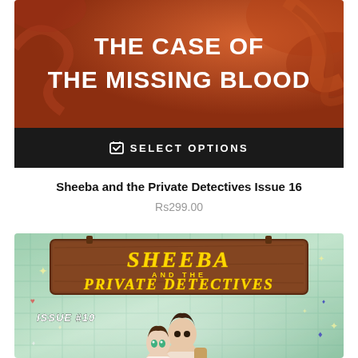[Figure (illustration): Book cover for 'The Case of the Missing Blood' with orange/red background and decorative swirls, showing the book title in bold white uppercase text]
SELECT OPTIONS
Sheeba and the Private Detectives Issue 16
Rs299.00
[Figure (illustration): Comic book cover for 'Sheeba and the Private Detectives Issue #10' showing two animated characters against a teal/green decorative background, with the title on a brown wooden sign board in yellow italic text]